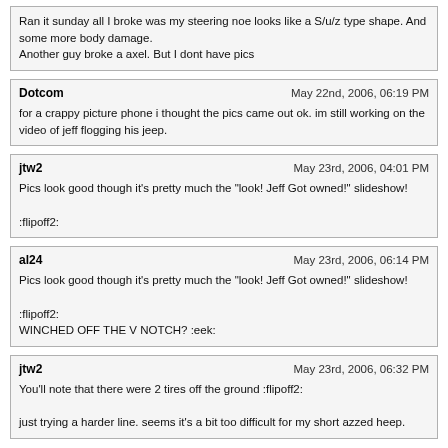Ran it sunday all I broke was my steering noe looks like a S/u/z type shape. And some more body damage.
Another guy broke a axel. But I dont have pics
Dotcom
May 22nd, 2006, 06:19 PM
for a crappy picture phone i thought the pics came out ok. im still working on the video of jeff flogging his jeep.
jtw2
May 23rd, 2006, 04:01 PM
Pics look good though it's pretty much the "look! Jeff Got owned!" slideshow!
:flipoff2:
al24
May 23rd, 2006, 06:14 PM
Pics look good though it's pretty much the "look! Jeff Got owned!" slideshow!
:flipoff2:
WINCHED OFF THE V NOTCH? :eek:
jtw2
May 23rd, 2006, 06:32 PM
You'll note that there were 2 tires off the ground :flipoff2:
just trying a harder line. seems it's a bit too difficult for my short azzed heep.
Powered by vBulletin® Version 4.2.5 Copyright © 2022 vBulletin Solutions Inc. All rights reserved.